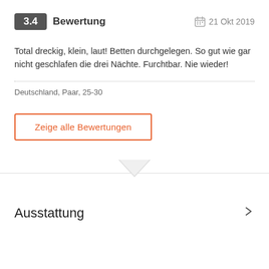3.4 Bewertung   21 Okt 2019
Total dreckig, klein, laut! Betten durchgelegen. So gut wie gar nicht geschlafen die drei Nächte. Furchtbar. Nie wieder!
Deutschland, Paar, 25-30
Zeige alle Bewertungen
Ausstattung